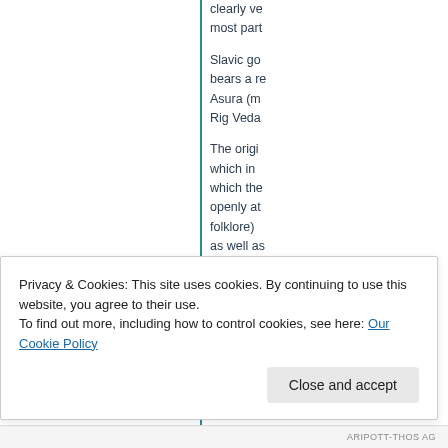clearly ve most part
Slavic go bears a re Asura (m Rig Veda
The origi which in which the openly at folklore) as well as from Indi vir Sl
Privacy & Cookies: This site uses cookies. By continuing to use this website, you agree to their use. To find out more, including how to control cookies, see here: Our Cookie Policy
Close and accept
ARIPOTT-THOS AG